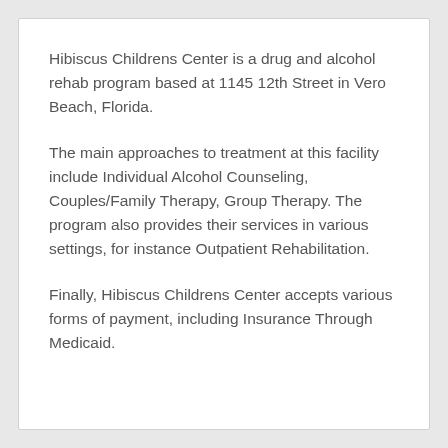Hibiscus Childrens Center is a drug and alcohol rehab program based at 1145 12th Street in Vero Beach, Florida.
The main approaches to treatment at this facility include Individual Alcohol Counseling, Couples/Family Therapy, Group Therapy. The program also provides their services in various settings, for instance Outpatient Rehabilitation.
Finally, Hibiscus Childrens Center accepts various forms of payment, including Insurance Through Medicaid.